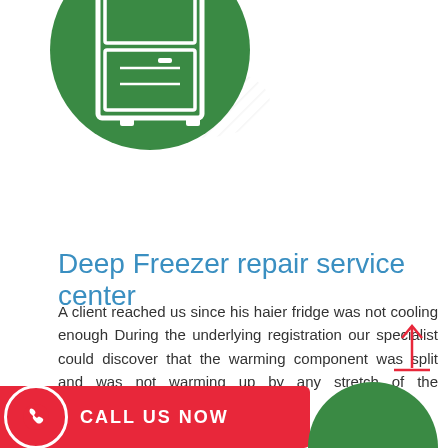[Figure (illustration): Green circle with a white deep freezer/refrigerator icon in the center, with diagonal stripe shadow extending to the right]
Deep Freezer repair service center
A client reached us since his haier fridge was not cooling enough During the underlying registration our specialist could discover that the warming component was split and was not warming up by any stretch of the imagination
[Figure (other): Blue rectangular 'Book' button]
[Figure (other): Red upward arrow with horizontal base line at bottom right]
[Figure (other): Red banner at bottom with phone icon circle and text CALL US NOW, with a green semi-circle at bottom right]